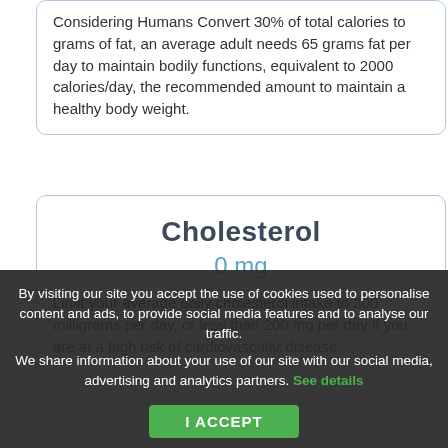Considering Humans Convert 30% of total calories to grams of fat, an average adult needs 65 grams fat per day to maintain bodily functions, equivalent to 2000 calories/day, the recommended amount to maintain a healthy body weight.
Cholesterol
0 mg
Limit your average daily cholesterol intake to 300 milligrams per day, or less than 200 mg per day if you are at a high risk of cardiovascular disease.
By visiting our site you accept the use of cookies used to personalise content and ads, to provide social media features and to analyse our traffic. We share information about your use of our site with our social media, advertising and analytics partners. See details
I ACCEPT